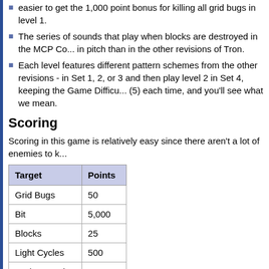easier to get the 1,000 point bonus for killing all grid bugs in level 1.
The series of sounds that play when blocks are destroyed in the MCP Co... in pitch than in the other revisions of Tron.
Each level features different pattern schemes from the other revisions - in Set 1, 2, or 3 and then play level 2 in Set 4, keeping the Game Difficu... (5) each time, and you'll see what we mean.
Scoring
Scoring in this game is relatively easy since there aren't a lot of enemies to k...
| Target | Points |
| --- | --- |
| Grid Bugs | 50 |
| Bit | 5,000 |
| Blocks | 25 |
| Light Cycles | 500 |
| Tank - 1st Hit | 100 |
| Tank - 2nd Hit | 300 |
| Tank - 3rd Hit | 500 |
You get a 1,000 point bonus for destroying all the Grid Bugs.
You get the remaining time added to your score when you enter the I/O Tow...